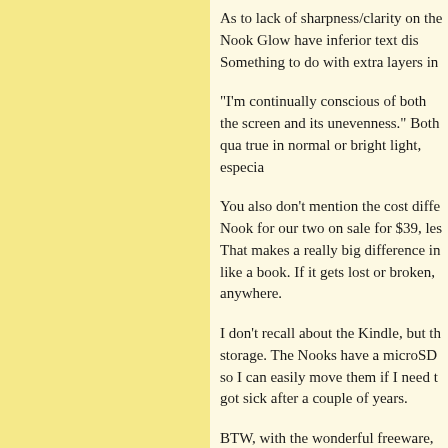As to lack of sharpness/clarity on the Nook Glow have inferior text dis Something to do with extra layers in
"I'm continually conscious of both the screen and its unevenness." Both qua true in normal or bright light, especia
You also don't mention the cost diffe Nook for our two on sale for $39, les That makes a really big difference in like a book. If it gets lost or broken, anywhere.
I don't recall about the Kindle, but th storage. The Nooks have a microSD so I can easily move them if I need t got sick after a couple of years.
BTW, with the wonderful freeware, sources may be cataloged together a